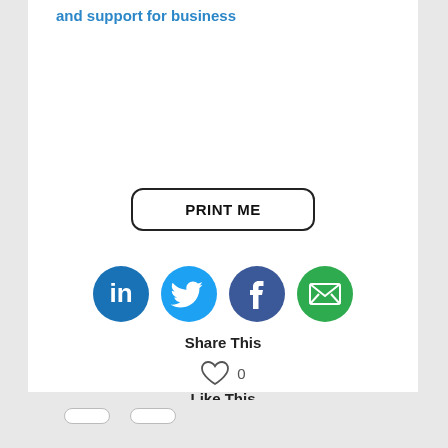and support for business
[Figure (illustration): PRINT ME button with rounded rectangle border]
[Figure (illustration): Social sharing icons: LinkedIn (blue circle), Twitter (light blue circle), Facebook (dark blue circle), Email (green circle)]
Share This
[Figure (illustration): Heart outline icon with count 0]
Like This
Categories: SCAMWATCH, Technology